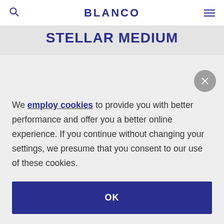BLANCO
STELLAR MEDIUM
We employ cookies to provide you with better performance and offer you a better online experience. If you continue without changing your settings, we presume that you consent to our use of these cookies.
OK